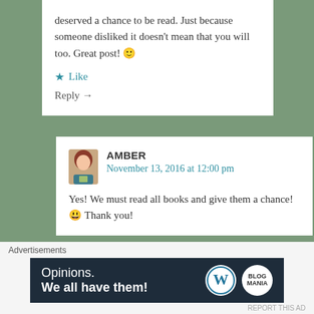deserved a chance to be read. Just because someone disliked it doesn’t mean that you will too. Great post! 🙂
★ Like
Reply →
AMBER
November 13, 2016 at 12:00 pm
Yes! We must read all books and give them a chance! 😃 Thank you!
Advertisements
[Figure (screenshot): WordPress advertisement banner with text 'Opinions. We all have them!' and WordPress logo on dark blue background]